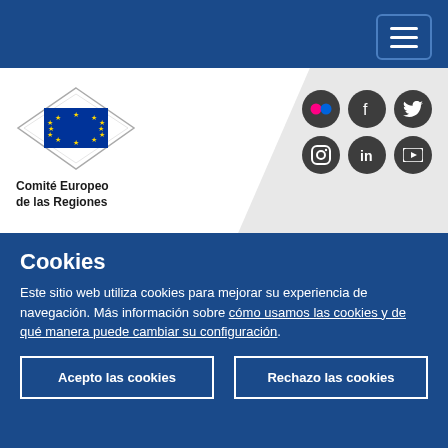Comité Europeo de las Regiones - navigation header with hamburger menu
[Figure (logo): EU flag diamond logo with stars on blue background, text: Comité Europeo de las Regiones]
[Figure (infographic): Social media icons: Flickr, Facebook, Twitter, Instagram, LinkedIn, YouTube]
Medios de comunicación  Contacto
Se encuentra aquí > 🏠 > Actos > ECON Hearing – "LRAs and the Recovery and Resilience Plans"
Cookies
Este sitio web utiliza cookies para mejorar su experiencia de navegación. Más información sobre cómo usamos las cookies y de qué manera puede cambiar su configuración.
Acepto las cookies  Rechazo las cookies